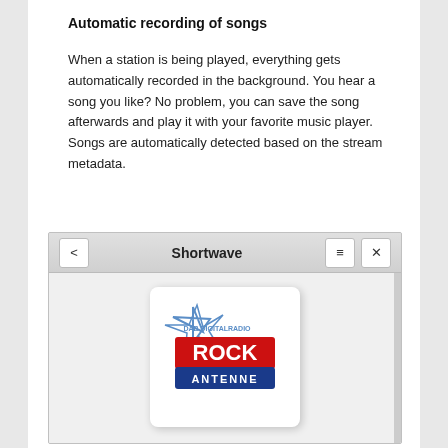Automatic recording of songs
When a station is being played, everything gets automatically recorded in the background. You hear a song you like? No problem, you can save the song afterwards and play it with your favorite music player. Songs are automatically detected based on the stream metadata.
[Figure (screenshot): Screenshot of Shortwave app showing a radio station card for Rock Antenne (DAB Digitalradio) with a navigation titlebar containing back arrow, Shortwave title, hamburger menu and close buttons.]